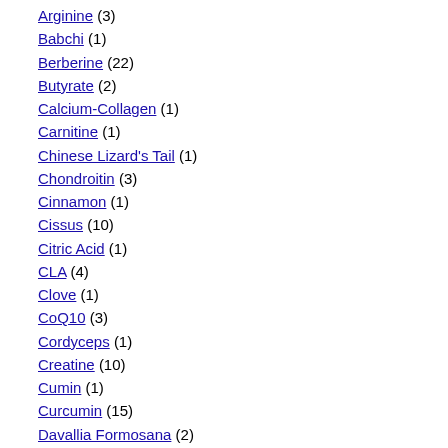Arginine (3)
Babchi (1)
Berberine (22)
Butyrate (2)
Calcium-Collagen (1)
Carnitine (1)
Chinese Lizard's Tail (1)
Chondroitin (3)
Cinnamon (1)
Cissus (10)
Citric Acid (1)
CLA (4)
Clove (1)
CoQ10 (3)
Cordyceps (1)
Creatine (10)
Cumin (1)
Curcumin (15)
Davallia Formosana (2)